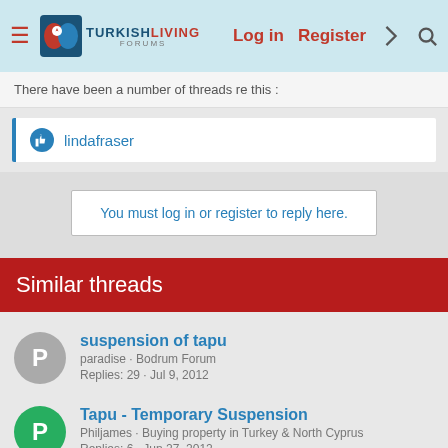TurkishLiving Forums — Log in  Register
There have been a number of threads re this :
👍 lindafraser
You must log in or register to reply here.
Similar threads
suspension of tapu
paradise · Bodrum Forum
Replies: 29 · Jul 9, 2012
Tapu - Temporary Suspension
Philjames · Buying property in Turkey & North Cyprus
Replies: 6 · Jun 27, 2012
Has the Tapu suspension made you reconsider your involvement with Turkey?
Paul Clements · Member Properties for Sale